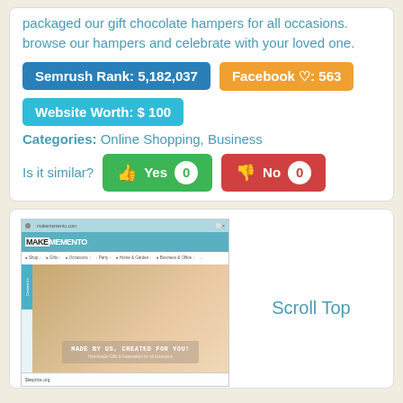packaged our gift chocolate hampers for all occasions. browse our hampers and celebrate with your loved one.
Semrush Rank: 5,182,037
Facebook ♡: 563
Website Worth: $ 100
Categories: Online Shopping, Business
Is it similar?  Yes 0  No 0
[Figure (screenshot): Screenshot of makememento website showing logo, navigation menu, and hero image with text 'MADE BY US, CREATED FOR YOU!' and siteprice.org watermark at bottom]